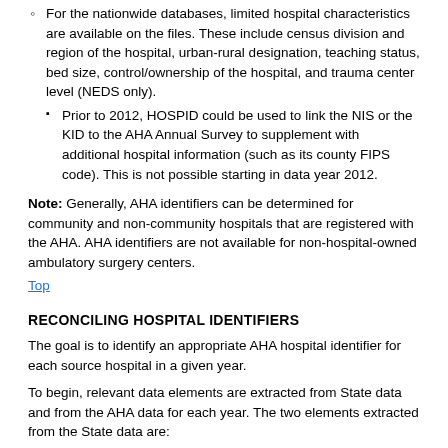For the nationwide databases, limited hospital characteristics are available on the files. These include census division and region of the hospital, urban-rural designation, teaching status, bed size, control/ownership of the hospital, and trauma center level (NEDS only).
Prior to 2012, HOSPID could be used to link the NIS or the KID to the AHA Annual Survey to supplement with additional hospital information (such as its county FIPS code). This is not possible starting in data year 2012.
Note: Generally, AHA identifiers can be determined for community and non-community hospitals that are registered with the AHA. AHA identifiers are not available for non-hospital-owned ambulatory surgery centers.
Top
RECONCILING HOSPITAL IDENTIFIERS
The goal is to identify an appropriate AHA hospital identifier for each source hospital in a given year.
To begin, relevant data elements are extracted from State data and from the AHA data for each year. The two elements extracted from the State data are:
the source-specific hospital identifier (DSHOSPID), and
a count of the hospital's inpatient records for each quarter and